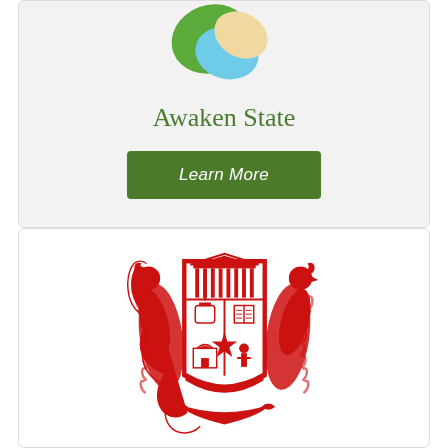[Figure (logo): Awaken State app logo - green, blue and beige overlapping leaf/petal shapes]
Awaken State
Learn More
[Figure (logo): Red university coat of arms / crest with eagles, shield containing buildings and open book, ornate heraldic design]